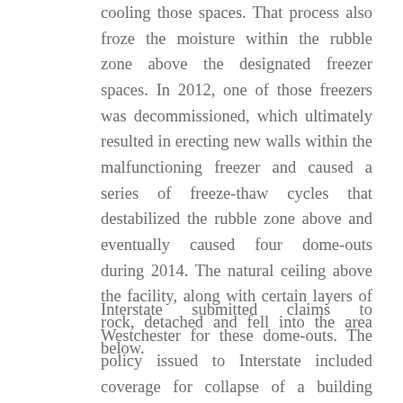cooling those spaces. That process also froze the moisture within the rubble zone above the designated freezer spaces. In 2012, one of those freezers was decommissioned, which ultimately resulted in erecting new walls within the malfunctioning freezer and caused a series of freeze-thaw cycles that destabilized the rubble zone above and eventually caused four dome-outs during 2014. The natural ceiling above the facility, along with certain layers of rock, detached and fell into the area below.
Interstate submitted claims to Westchester for these dome-outs. The policy issued to Interstate included coverage for collapse of a building caused by “building decay” under certain circumstances. Westchester